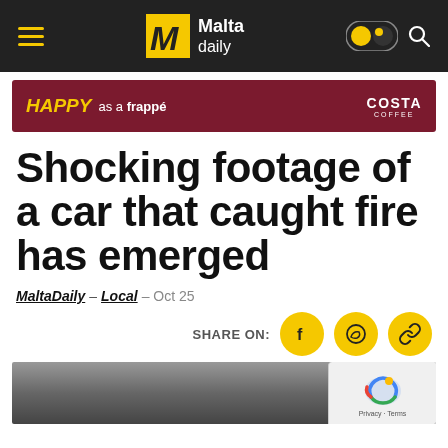Malta daily
[Figure (screenshot): Costa Coffee advertisement banner: 'HAPPY as a frappe' on dark red background]
Shocking footage of a car that caught fire has emerged
MaltaDaily – Local – Oct 25
SHARE ON:
[Figure (photo): Dark blurry photograph at bottom of page, partially visible]